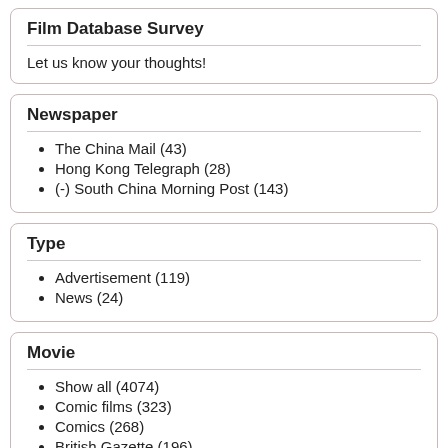Film Database Survey
Let us know your thoughts!
Newspaper
The China Mail (43)
Hong Kong Telegraph (28)
(-) South China Morning Post (143)
Type
Advertisement (119)
News (24)
Movie
Show all (4074)
Comic films (323)
Comics (268)
British Gazette (196)